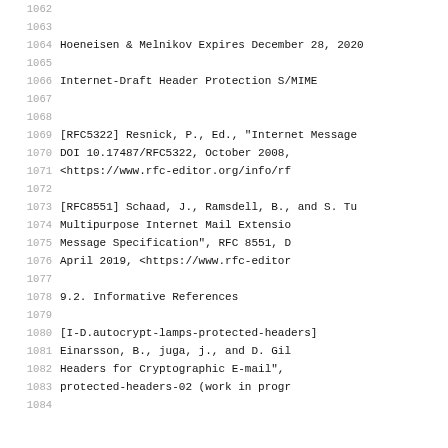Hoeneisen & Melnikov    Expires December 28, 2020
Internet-Draft                    Header Protection S/MIME
[RFC5322]   Resnick, P., Ed., "Internet Message
               DOI 10.17487/RFC5322, October 2008,
               <https://www.rfc-editor.org/info/rf
[RFC8551]   Schaad, J., Ramsdell, B., and S. Tu
               Multipurpose Internet Mail Extensio
               Message Specification", RFC 8551, D
               April 2019, <https://www.rfc-editor
9.2.  Informative References
[I-D.autocrypt-lamps-protected-headers]
               Einarsson, B., juga, j., and D. Gil
               Headers for Cryptographic E-mail",
               protected-headers-02 (work in progr